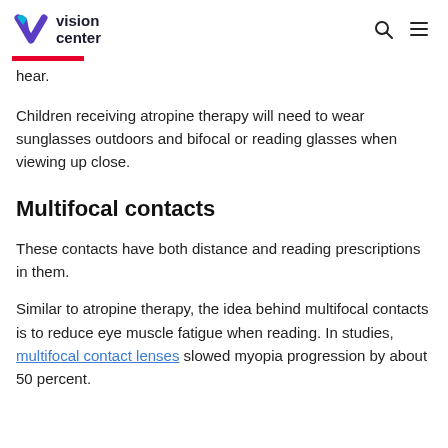vision center
hear.
Children receiving atropine therapy will need to wear sunglasses outdoors and bifocal or reading glasses when viewing up close.
Multifocal contacts
These contacts have both distance and reading prescriptions in them.
Similar to atropine therapy, the idea behind multifocal contacts is to reduce eye muscle fatigue when reading. In studies, multifocal contact lenses slowed myopia progression by about 50 percent.